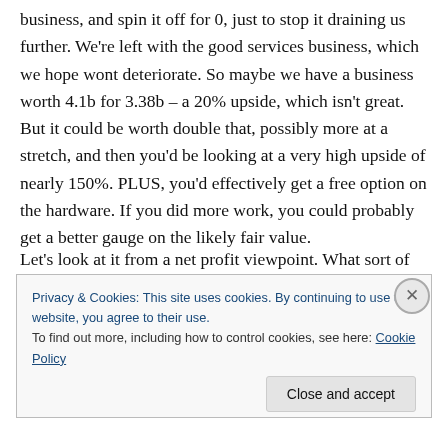business, and spin it off for 0, just to stop it draining us further. We're left with the good services business, which we hope wont deteriorate. So maybe we have a business worth 4.1b for 3.38b – a 20% upside, which isn't great. But it could be worth double that, possibly more at a stretch, and then you'd be looking at a very high upside of nearly 150%. PLUS, you'd effectively get a free option on the hardware. If you did more work, you could probably get a better gauge on the likely fair value.
Let's look at it from a net profit viewpoint. What sort of net
Privacy & Cookies: This site uses cookies. By continuing to use this website, you agree to their use.
To find out more, including how to control cookies, see here: Cookie Policy